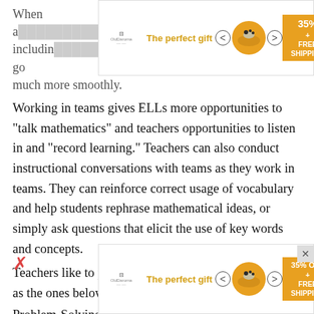[Figure (other): Advertisement banner at top: 'The perfect gift' with bowl image, navigation arrows, and '35% OFF + FREE SHIPPING' orange promo block]
When a... includin... ng go much more smoothly.
Working in teams gives ELLs more opportunities to "talk mathematics" and teachers opportunities to listen in and "record learning." Teachers can also conduct instructional conversations with teams as they work in teams. They can reinforce correct usage of vocabulary and help students rephrase mathematical ideas, or simply ask questions that elicit the use of key words and concepts.
Teachers like to post or hand out lists of strategies such as the ones below as reminders.
Problem-Solving! Strategies * Act out or use objects * Use or make a table * Make an organized list * Make a picture or diagram * Use or look for a pattern * Work backwards * Use
[Figure (other): Advertisement banner at bottom: 'The perfect gift' with bowl image, navigation arrows, and '35% OFF + FREE SHIPPING' orange promo block]